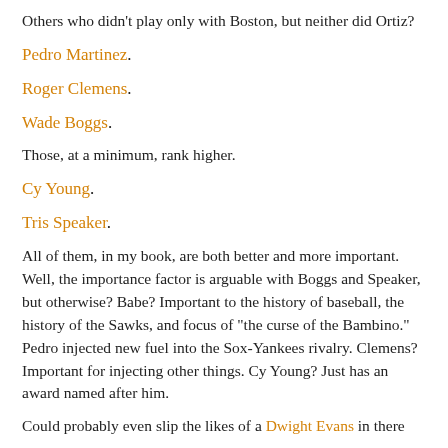Others who didn't play only with Boston, but neither did Ortiz?
Pedro Martinez.
Roger Clemens.
Wade Boggs.
Those, at a minimum, rank higher.
Cy Young.
Tris Speaker.
All of them, in my book, are both better and more important. Well, the importance factor is arguable with Boggs and Speaker, but otherwise? Babe? Important to the history of baseball, the history of the Sawks, and focus of "the curse of the Bambino." Pedro injected new fuel into the Sox-Yankees rivalry. Clemens? Important for injecting other things. Cy Young? Just has an award named after him.
Could probably even slip the likes of a Dwight Evans in there